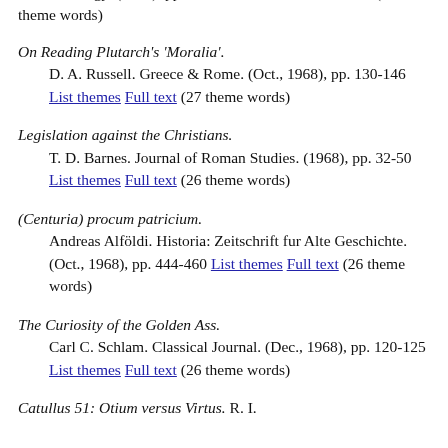Philology. (1968), pp. 275-288 List themes Full text (29 theme words)
On Reading Plutarch's 'Moralia'. D. A. Russell. Greece & Rome. (Oct., 1968), pp. 130-146 List themes Full text (27 theme words)
Legislation against the Christians. T. D. Barnes. Journal of Roman Studies. (1968), pp. 32-50 List themes Full text (26 theme words)
(Centuria) procum patricium. Andreas Alföldi. Historia: Zeitschrift fur Alte Geschichte. (Oct., 1968), pp. 444-460 List themes Full text (26 theme words)
The Curiosity of the Golden Ass. Carl C. Schlam. Classical Journal. (Dec., 1968), pp. 120-125 List themes Full text (26 theme words)
Catullus 51: Otium versus Virtus. R. I.